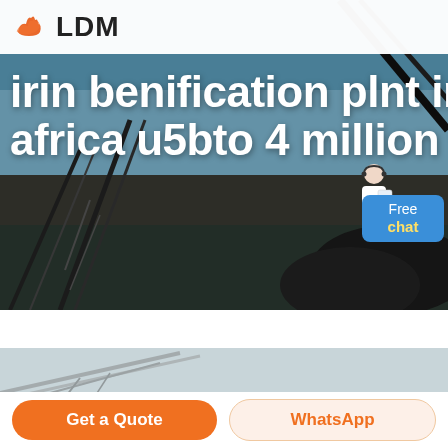[Figure (photo): LDM company logo with orange hands icon and bold LDM text on white bar]
[Figure (photo): Industrial mining beneficiation plant with conveyor belts under blue sky, with large white text overlay reading 'irin benification plnt in africa u5bto 4 million ton' and a Free chat widget with customer service avatar on the right]
[Figure (photo): Second industrial conveyor/plant photo partially visible at bottom]
Get a Quote
WhatsApp